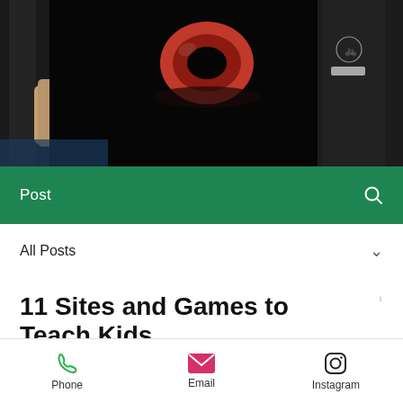[Figure (photo): Dark photo of a coffee mug (red/orange cup) on a machine, with a hand visible on the left and a dark device on the right]
Post
All Posts
11 Sites and Games to Teach Kids
Phone   Email   Instagram